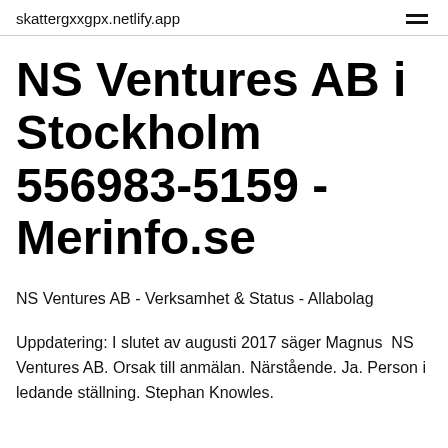skattergxxgpx.netlify.app
NS Ventures AB i Stockholm 556983-5159 - Merinfo.se
NS Ventures AB - Verksamhet & Status - Allabolag
Uppdatering: I slutet av augusti 2017 säger Magnus  NS Ventures AB. Orsak till anmälan. Närstående. Ja. Person i ledande ställning. Stephan Knowles.